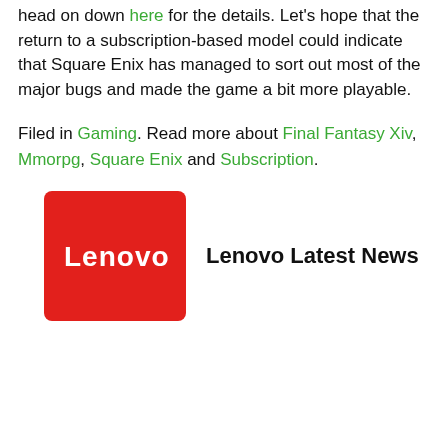head on down here for the details. Let's hope that the return to a subscription-based model could indicate that Square Enix has managed to sort out most of the major bugs and made the game a bit more playable.
Filed in Gaming. Read more about Final Fantasy Xiv, Mmorpg, Square Enix and Subscription.
[Figure (logo): Lenovo red square logo with white Lenovo text]
Lenovo Latest News